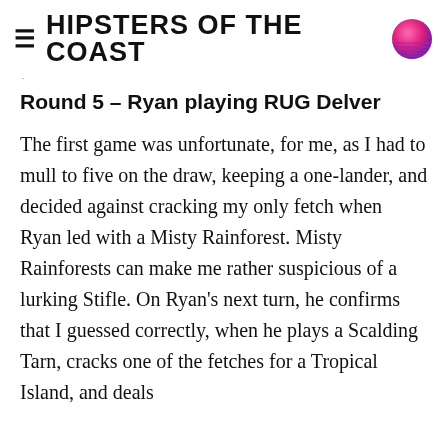≡ HIPSTERS OF THE COAST
Round 5 – Ryan playing RUG Delver
The first game was unfortunate, for me, as I had to mull to five on the draw, keeping a one-lander, and decided against cracking my only fetch when Ryan led with a Misty Rainforest. Misty Rainforests can make me rather suspicious of a lurking Stifle. On Ryan's next turn, he confirms that I guessed correctly, when he plays a Scalding Tarn, cracks one of the fetches for a Tropical Island, and deals...